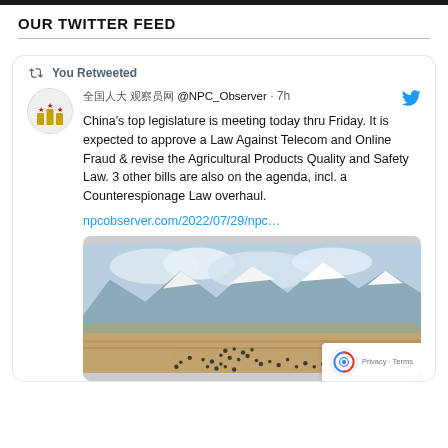OUR TWITTER FEED
[Figure (screenshot): Twitter/X card showing a retweet from @NPC_Observer (7h ago). Tweet text: 'China's top legislature is meeting today thru Friday. It is expected to approve a Law Against Telecom and Online Fraud & revise the Agricultural Products Quality and Safety Law. 3 other bills are also on the agenda, incl. a Counterespionage Law overhaul.' Link: npcobserver.com/2022/07/29/npc... with a landscape photo of snow-capped mountains and birds on a plain.]